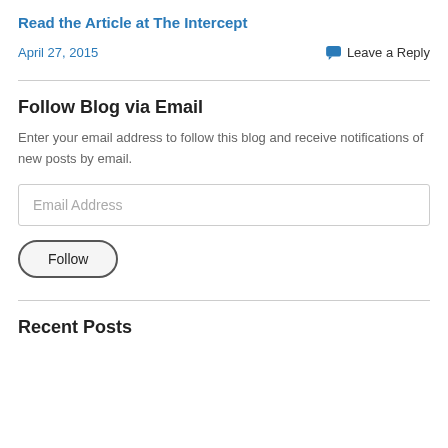Read the Article at The Intercept
April 27, 2015
💬 Leave a Reply
Follow Blog via Email
Enter your email address to follow this blog and receive notifications of new posts by email.
Email Address
Follow
Recent Posts